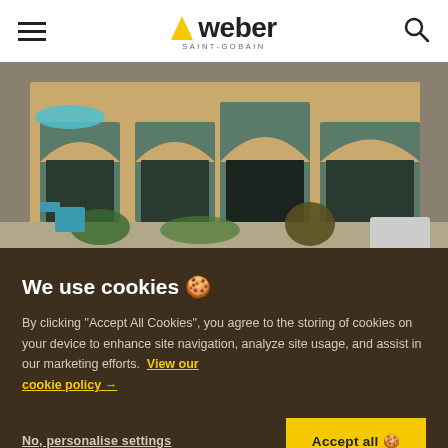Weber Saint-Gobain navigation header with menu icon, logo, and search icon
[Figure (photo): Exterior photo of a brick building with arched windows and doors, garden patio with plants and outdoor furniture]
RENDERS & DECORATIVE FINISHES
We use cookies 🍪
By clicking "Accept All Cookies", you agree to the storing of cookies on your device to enhance site navigation, analyze site usage, and assist in our marketing efforts.  View our cookie policy →
No, personalise settings
Accept all 🍪